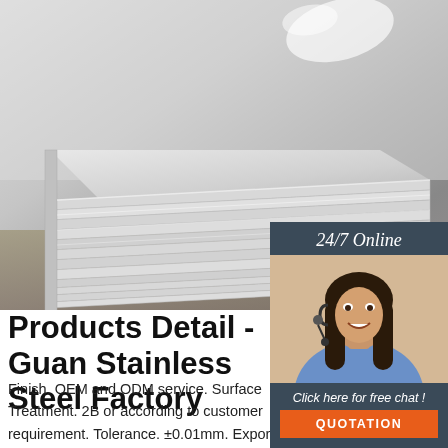[Figure (photo): Photo of stacked stainless steel sheets/plates in a factory or warehouse setting, showing the edges of multiple flat metal sheets. Light reflects off the smooth top surface. A customer service representative with a headset is shown in the bottom-right overlay with a '24/7 Online' banner and 'Click here for free chat!' text with a QUOTATION button.]
Products Detail - Guan Stainless Steel Factory
Finish. OEM and ODM service. Surface Treatment. 2B or according to customer requirement. Tolerance. ±0.01mm. Export Packing. Waterproof paper, and steel strip packed Standard Export Seaworthy Package Suit